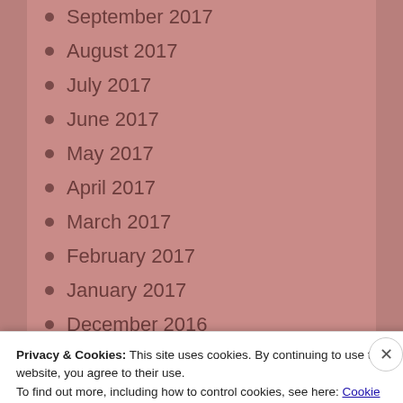September 2017
August 2017
July 2017
June 2017
May 2017
April 2017
March 2017
February 2017
January 2017
December 2016
November 2016
Privacy & Cookies: This site uses cookies. By continuing to use this website, you agree to their use.
To find out more, including how to control cookies, see here: Cookie Policy